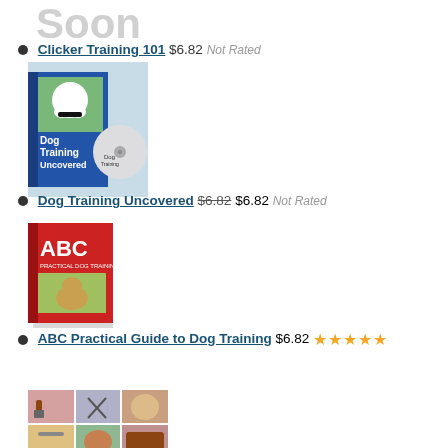Soon
Clicker Training 101 $6.82 Not Rated
[Figure (photo): Book and CD cover for Dog Training Uncovered]
Dog Training Uncovered $6.82 $6.82 Not Rated
[Figure (photo): Book cover for ABC Practical Guide to Dog Training]
ABC Practical Guide to Dog Training $6.82 ★★★★★
[Figure (photo): Collage of dog grooming tools and dogs]